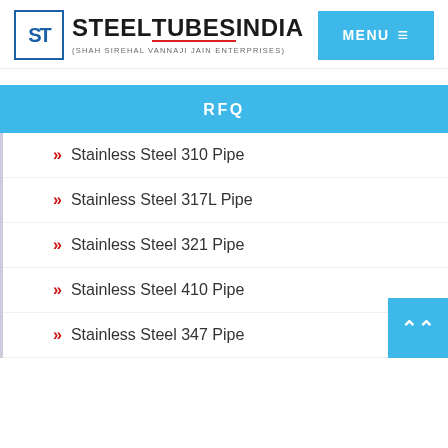STEEL TUBES INDIA (SHAH SIREMAL VANNAJI JAIN ENTERPRISES) MENU
RFQ
Stainless Steel 310 Pipe
Stainless Steel 317L Pipe
Stainless Steel 321 Pipe
Stainless Steel 410 Pipe
Stainless Steel 347 Pipe